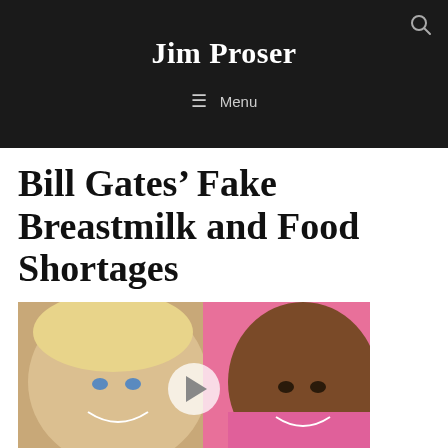Jim Proser
Bill Gates’ Fake Breastmilk and Food Shortages
[Figure (photo): Two smiling children — one blonde girl and one child in a pink hoodie — with a video play button overlay in the center of the image.]